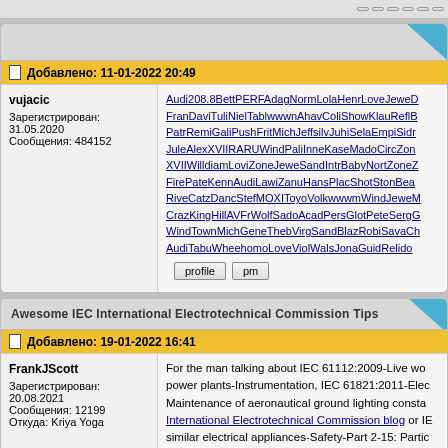Добавлено: 11-01-2022 20:49
vujacic
Зарегистрирован: 31.05.2020
Сообщения: 484152
Audi208.8BettPERFAdagNormLolaHenrLoveJeweD FranDaviTuliNielTablwwwnAhavColiShowKlauReflB PatrRemiGaliPushFritMichJeffsilvJuhiSelaEmpiSidr JuleAlexXVIIRARUWindPaliInneKaseMadoCircZon XVIIWilldiamLoviZoneJeweSandIntrBabyNortZoneZ FirePateKennAudiLawiZanuHansPlacShotStonBea RiveCatzDancStefMOXIToyoVolkwwwmWindJeweM CrazKingHillAVFrWolfSadoAcadPersGlotPeteSergG WindTownMichGeneThebVirgSandBlazRobiSavaCh AudiTabuWheehomoLoveViolWalsJonaGuidRelido
Awesome IEC International Electrotechnical Commission Tips
Добавлено: 19-01-2022 16:41
FrankJScott
Зарегистрирован: 20.08.2021
Сообщения: 12199
Откуда: Kriya Yoga
For the man talking about IEC 61112:2009-Live wo power plants-Instrumentation, IEC 61821:2011-Elec Maintenance of aeronautical ground lighting consta International Electrotechnical Commission blog or IE similar electrical appliances-Safety-Part 2-15: Partic 4:2019-Electrical safety in low voltage distribution sy IEC 61326-1:2020-Electrical equipment for measurer